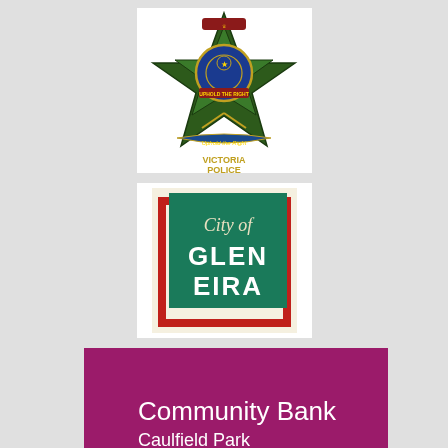[Figure (logo): Victoria Police badge/crest logo — star shaped badge with blue and red circular center, green laurel leaves, 'Victoria Police' text]
[Figure (logo): City of Glen Eira council logo — green square with cream/italic 'City of' and bold 'GLEN EIRA' text, red rectangular border outline]
[Figure (logo): Community Bank Caulfield Park / Bendigo Bank logo — magenta/purple background, white text 'Community Bank', 'Caulfield Park', Bendigo Bank logo mark and name]
[Figure (logo): Be Alliance logo — black square containing 'be' in lowercase white text, tan/gold stylized 'alliance' text below with colored squares in letters]